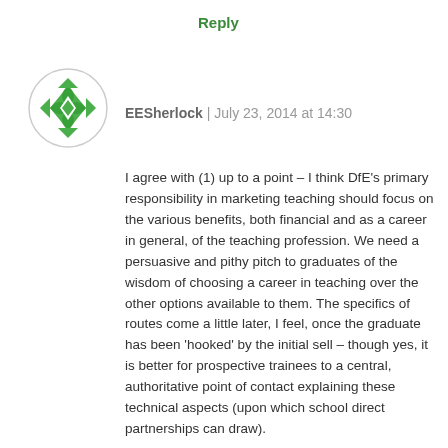Reply
[Figure (illustration): Green geometric avatar icon — a circular badge with a diamond/flower pattern in green and white]
EESherlock | July 23, 2014 at 14:30
I agree with (1) up to a point – I think DfE's primary responsibility in marketing teaching should focus on the various benefits, both financial and as a career in general, of the teaching profession. We need a persuasive and pithy pitch to graduates of the wisdom of choosing a career in teaching over the other options available to them. The specifics of routes come a little later, I feel, once the graduate has been 'hooked' by the initial sell – though yes, it is better for prospective trainees to a central, authoritative point of contact explaining these technical aspects (upon which school direct partnerships can draw).
I also agree that the different routes under the School Direct could do with differentiation (not to mention SCITTs).